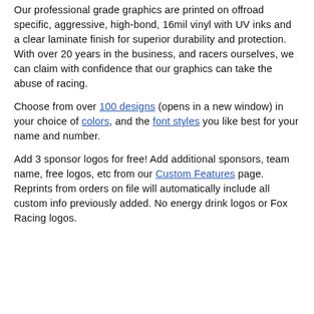Our professional grade graphics are printed on offroad specific, aggressive, high-bond, 16mil vinyl with UV inks and a clear laminate finish for superior durability and protection. With over 20 years in the business, and racers ourselves, we can claim with confidence that our graphics can take the abuse of racing.
Choose from over 100 designs (opens in a new window) in your choice of colors, and the font styles you like best for your name and number.
Add 3 sponsor logos for free! Add additional sponsors, team name, free logos, etc from our Custom Features page. Reprints from orders on file will automatically include all custom info previously added. No energy drink logos or Fox Racing logos.